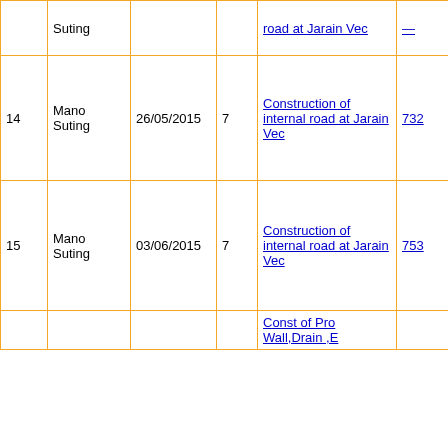| # | Name | Date | Days | Work Description | MB | Amount | 0 |
| --- | --- | --- | --- | --- | --- | --- | --- |
|  | Suting |  |  | road at Jarain Vec | — |  |  |
| 14 | Mano Suting | 26/05/2015 | 7 | Construction of internal road at Jarain Vec | 732 | 1141 | 0 |
| 15 | Mano Suting | 03/06/2015 | 7 | Construction of internal road at Jarain Vec | 753 | 1141 | 0 |
| 16 | Wilis Suting | 01/01/2016 | 14 | Const of Pro Wall,Drain ,E Cuting Dpt For Pitcher Plant Lake at Jarain Vec FY:2015-16 .WO/121 | 4220 | 2282 | 0 |
| 17 | Wilis Suting | 17/01/2016 | 13 | Const of Pro Wall,Drain ,E Cuting Dpt For Pitcher Plant Lake at Jarain Vec FY:2015-16 .WO/121 | 4245 | 2119 | 0 |
|  |  |  |  | Const of Pro Wall,Drain ,E |  |  |  |